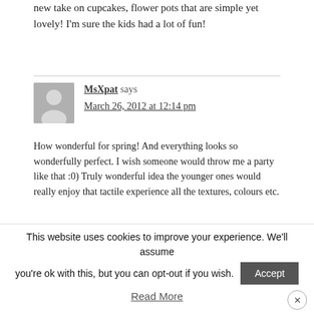new take on cupcakes, flower pots that are simple yet lovely! I'm sure the kids had a lot of fun!
MsXpat says
March 26, 2012 at 12:14 pm

How wonderful for spring! And everything looks so wonderfully perfect. I wish someone would throw me a party like that :0) Truly wonderful idea the younger ones would really enjoy that tactile experience all the textures, colours etc.
This website uses cookies to improve your experience. We'll assume you're ok with this, but you can opt-out if you wish. Accept
Read More